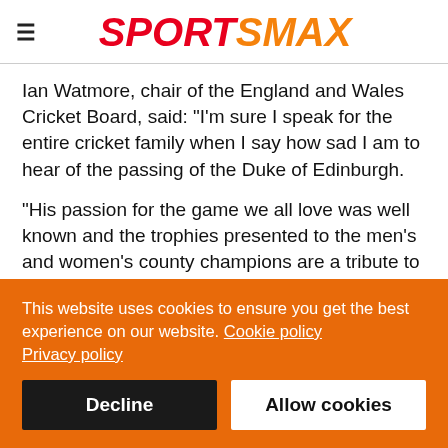SPORTSMAX
Ian Watmore, chair of the England and Wales Cricket Board, said: "I'm sure I speak for the entire cricket family when I say how sad I am to hear of the passing of the Duke of Edinburgh.

"His passion for the game we all love was well known and the trophies presented to the men's and women's county champions are a tribute to his dedication to our sport. We owe him a great debt for his support and passion over many decades."
This website uses cookies to ensure you get the best experience on our website. Cookie policy
Privacy policy
Decline    Allow cookies